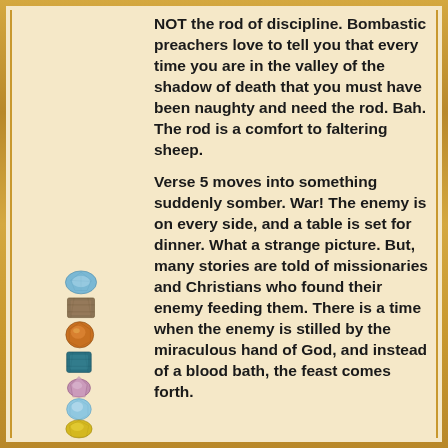[Figure (illustration): A vertical stack of colorful gemstones/crystals of various cuts and colors including blue, smoky brown, orange/amber, teal, pink/purple, light blue, yellow, and pink at the bottom.]
NOT the rod of discipline. Bombastic preachers love to tell you that every time you are in the valley of the shadow of death that you must have been naughty and need the rod. Bah. The rod is a comfort to faltering sheep.

Verse 5 moves into something suddenly somber. War! The enemy is on every side, and a table is set for dinner. What a strange picture. But, many stories are told of missionaries and Christians who found their enemy feeding them. There is a time when the enemy is stilled by the miraculous hand of God, and instead of a blood bath, the feast comes forth.